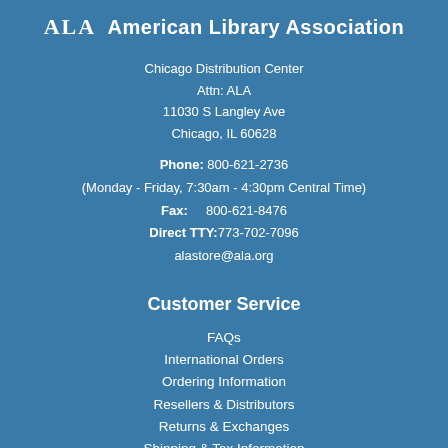ALA American Library Association
Chicago Distribution Center
Attn: ALA
11030 S Langley Ave
Chicago, IL 60628
Phone: 800-621-2736
(Monday - Friday, 7:30am - 4:30pm Central Time)
Fax: 800-621-8476
Direct TTY:773-702-7096
alastore@ala.org
Customer Service
FAQs
International Orders
Ordering Information
Resellers & Distributors
Returns & Exchanges
Shipping & Tax Information
Customer & Member Resources